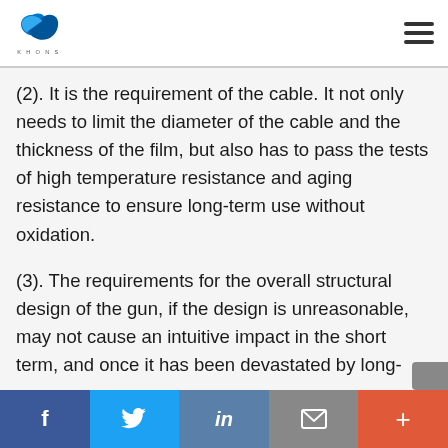KHONS logo and navigation menu
(2). It is the requirement of the cable. It not only needs to limit the diameter of the cable and the thickness of the film, but also has to pass the tests of high temperature resistance and aging resistance to ensure long-term use without oxidation.
(3). The requirements for the overall structural design of the gun, if the design is unreasonable, may not cause an intuitive impact in the short term, and once it has been devastated by long-
Social share bar: Facebook, Twitter, LinkedIn, Email, More